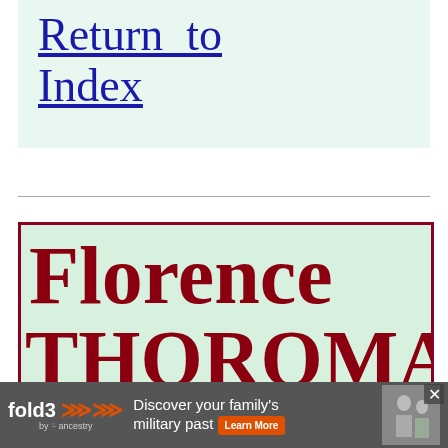Return to Index
Florence THOROMAN
[Figure (advertisement): Fold3 by Ancestry advertisement: 'Discover your family's military past. Learn More' with a photo of two people and a close button.]